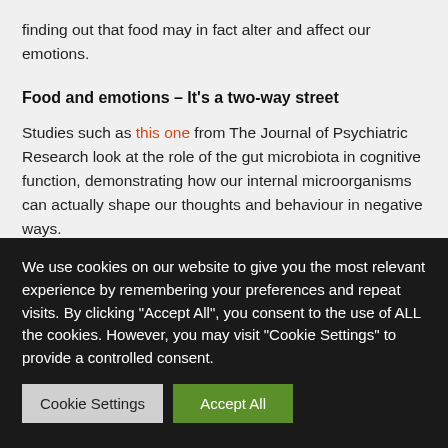finding out that food may in fact alter and affect our emotions.
Food and emotions – It's a two-way street
Studies such as this one from The Journal of Psychiatric Research look at the role of the gut microbiota in cognitive function, demonstrating how our internal microorganisms can actually shape our thoughts and behaviour in negative ways.
We use cookies on our website to give you the most relevant experience by remembering your preferences and repeat visits. By clicking "Accept All", you consent to the use of ALL the cookies. However, you may visit "Cookie Settings" to provide a controlled consent.